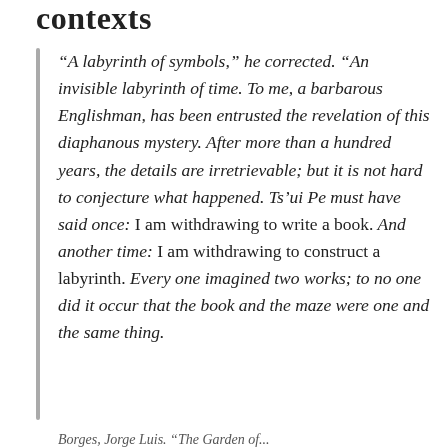contexts
“A labyrinth of symbols,” he corrected. “An invisible labyrinth of time. To me, a barbarous Englishman, has been entrusted the revelation of this diaphanous mystery. After more than a hundred years, the details are irretrievable; but it is not hard to conjecture what happened. Ts’ui Pe must have said once: I am withdrawing to write a book. And another time: I am withdrawing to construct a labyrinth. Every one imagined two works; to no one did it occur that the book and the maze were one and the same thing.
Borges, Jorge Luis. “The Garden of...